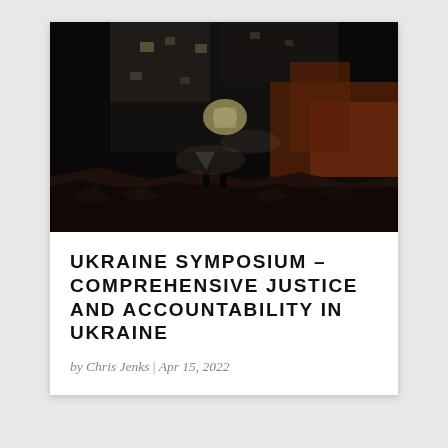[Figure (photo): Nighttime photograph of a heavily damaged multi-story building. Two silhouetted figures stand amid rubble in the foreground. The building facade is lit by orange fire glow on the right and white artificial lights shining through broken windows. The scene depicts war destruction.]
UKRAINE SYMPOSIUM - COMPREHENSIVE JUSTICE AND ACCOUNTABILITY IN UKRAINE
by Chris Jenks | Apr 15, 2022